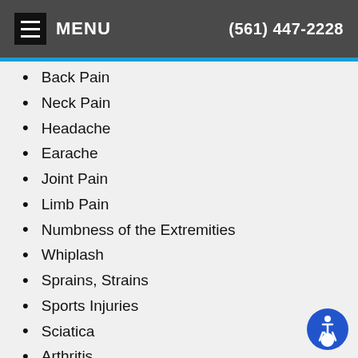MENU  (561) 447-2228
Back Pain
Neck Pain
Headache
Earache
Joint Pain
Limb Pain
Numbness of the Extremities
Whiplash
Sprains, Strains
Sports Injuries
Sciatica
Arthritis
Scoliosis
Carpal Tunnel
Bursitis
TMJ
Digestive Disorders
Dizziness
Muscle Spasms